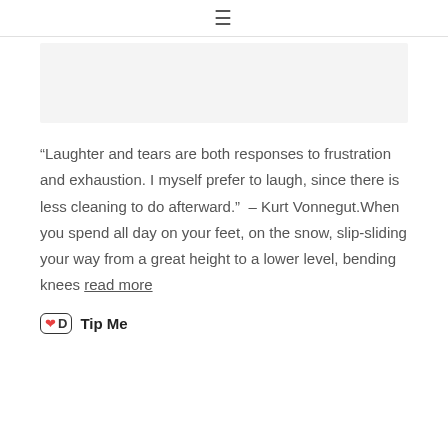≡
[Figure (other): Light gray placeholder banner image area]
“Laughter and tears are both responses to frustration and exhaustion. I myself prefer to laugh, since there is less cleaning to do afterward.” – Kurt Vonnegut.When you spend all day on your feet, on the snow, slip-sliding your way from a great height to a lower level, bending knees read more
Tip Me